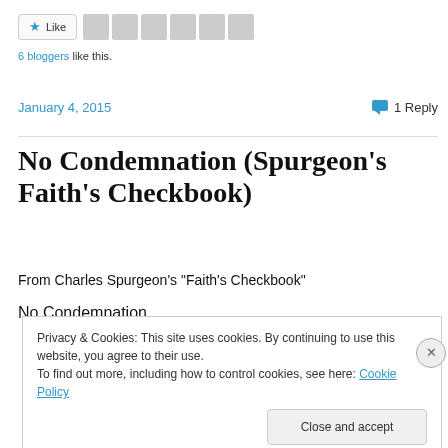[Figure (screenshot): Like button with star icon and 6 blogger avatar thumbnails]
6 bloggers like this.
January 4, 2015
1 Reply
No Condemnation (Spurgeon’s Faith’s Checkbook)
From Charles Spurgeon’s “Faith’s Checkbook”
No Condemnation
Privacy & Cookies: This site uses cookies. By continuing to use this website, you agree to their use.
To find out more, including how to control cookies, see here: Cookie Policy
Close and accept